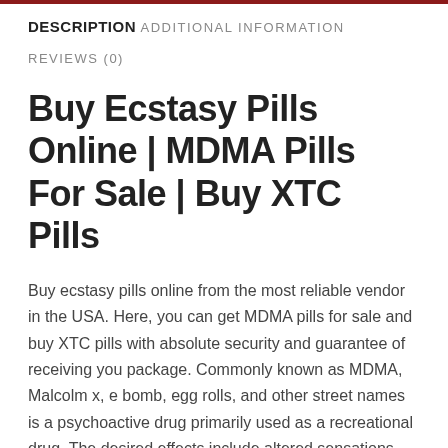DESCRIPTION
ADDITIONAL INFORMATION
REVIEWS (0)
Buy Ecstasy Pills Online | MDMA Pills For Sale | Buy XTC Pills
Buy ecstasy pills online from the most reliable vendor in the USA. Here, you can get MDMA pills for sale and buy XTC pills with absolute security and guarantee of receiving you package. Commonly known as MDMA, Malcolm x, e bomb, egg rolls, and other street names is a psychoactive drug primarily used as a recreational drug. The desired effects include altered sensations and increased energy, empathy,